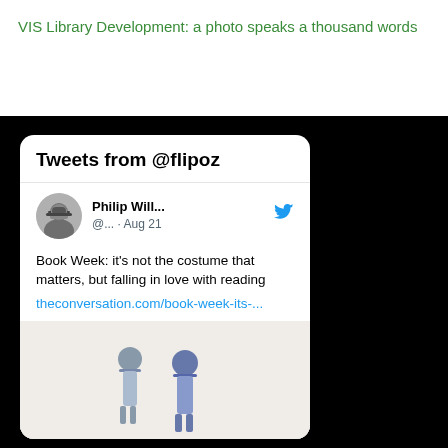VIS Library Development: a photo speaks a thousand words
[Figure (screenshot): Screenshot of a Twitter/X widget showing 'Tweets from @flipoz'. Contains a tweet by Philip Will... (@... · Aug 21) reading: 'Book Week: it's not the costume that matters, but falling in love with reading theconversation.com/book-week-its-...' with a photo of two children in hats below.]